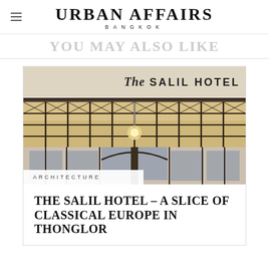URBAN AFFAIRS BANGKOK
YOU MAY ALSO LIKE
[Figure (photo): Exterior entrance of The Salil Hotel showing a decorative glass and metal grid canopy/awning with arched windows and doors below, warm lighting from above. Hotel sign reads 'The Salil Hotel' at top.]
ARCHITECTURE
THE SALIL HOTEL – A SLICE OF CLASSICAL EUROPE IN THONGLOR